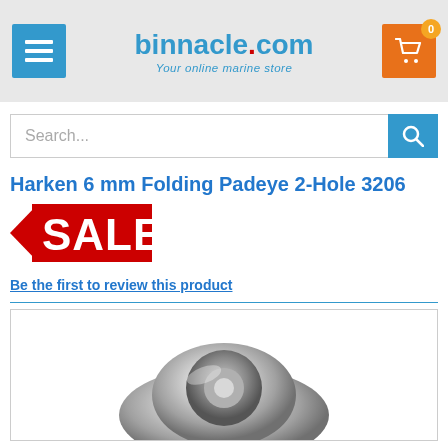binnacle.com — Your online marine store
Search...
Harken 6 mm Folding Padeye 2-Hole 3206
[Figure (logo): Red SALE tag with arrow pointing left]
Be the first to review this product
[Figure (photo): Chrome metal folding padeye hardware product photo, partially visible]